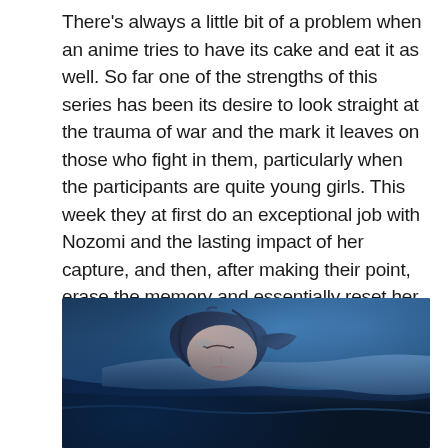There's always a little bit of a problem when an anime tries to have its cake and eat it as well. So far one of the strengths of this series has been its desire to look straight at the trauma of war and the mark it leaves on those who fight in them, particularly when the participants are quite young girls. This week they at first do an exceptional job with Nozomi and the lasting impact of her capture, and then, after making their point, erase the memory and essentially reset her character. While there are implications going forward given she's still a target, it felt like the anime just could commit to its own theme in this instance and wanted to just move things along.
[Figure (photo): Anime scene showing a female character with dark hair lying down with eyes closed, styled in blue tones suggesting a nighttime or sleeping scene.]